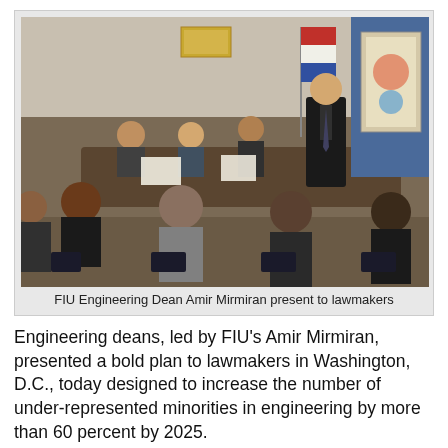[Figure (photo): FIU Engineering Dean Amir Mirmiran presenting to lawmakers in a conference room setting, with people seated around a table listening]
FIU Engineering Dean Amir Mirmiran present to lawmakers
Engineering deans, led by FIU's Amir Mirmiran, presented a bold plan to lawmakers in Washington, D.C., today designed to increase the number of under-represented minorities in engineering by more than 60 percent by 2025.
While the number of engineering graduates in the U.S. has remained constant for the last two decades, the number of minorities among high school graduates is on